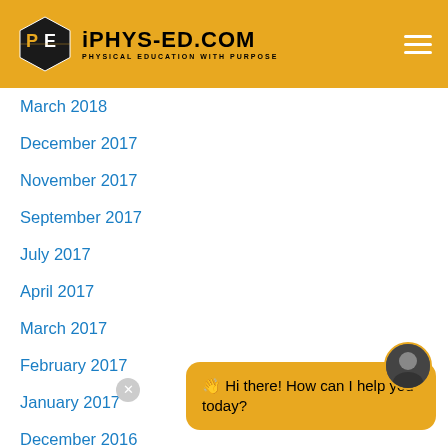[Figure (logo): iPhys-Ed.com logo with hexagon icon and tagline 'Physical Education with Purpose' on golden/amber header bar]
March 2018
December 2017
November 2017
September 2017
July 2017
April 2017
March 2017
February 2017
January 2017
December 2016
November 2016
[Figure (screenshot): Chat widget with golden background showing message 'Hi there! How can I help you today?' with avatar of person]